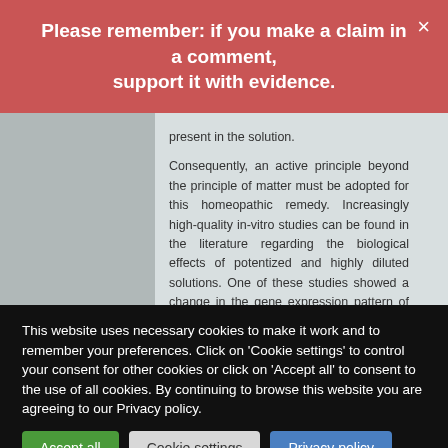Please remember: if you make a claim in a comment, support it with evidence.
present in the solution.
Consequently, an active principle beyond the principle of matter must be adopted for this homeopathic remedy. Increasingly high-quality in-vitro studies can be found in the literature regarding the biological effects of potentized and highly diluted solutions. One of these studies showed a change in the gene expression pattern of human nerve cells after incubation with highly diluted gel semium solution [ 18 ]".
This individual case may be interesting, but
This website uses necessary cookies to make it work and to remember your preferences. Click on 'Cookie settings' to control your consent for other cookies or click on 'Accept all' to consent to the use of all cookies. By continuing to browse this website you are agreeing to our Privacy policy.